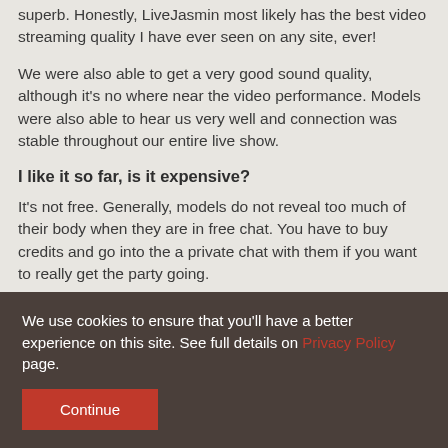superb. Honestly, LiveJasmin most likely has the best video streaming quality I have ever seen on any site, ever!
We were also able to get a very good sound quality, although it's no where near the video performance. Models were also able to hear us very well and connection was stable throughout our entire live show.
I like it so far, is it expensive?
It's not free. Generally, models do not reveal too much of their body when they are in free chat. You have to buy credits and go into the a private chat with them if you want to really get the party going.
Each girl sets her own price per minute as far as we could tell. New models usually have a lower rate, between 0.99 and 1.99 credits per minute. Other models are more expensive, going
We use cookies to ensure that you'll have a better experience on this site. See full details on Privacy Policy page.
Continue